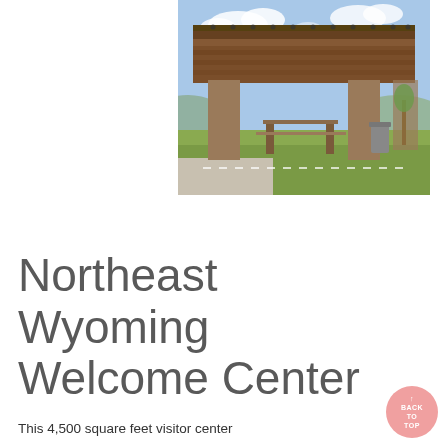[Figure (photo): Outdoor covered pavilion/shelter structure with wooden roof, brick pillars, picnic tables, surrounded by green grass and blue sky with clouds — a visitor center or rest stop facility.]
Northeast Wyoming Welcome Center
This 4,500 square feet visitor center